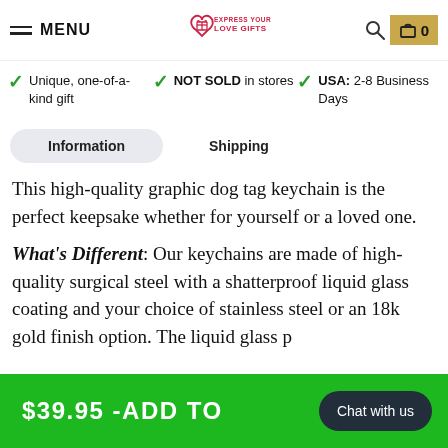MENU | Express Your Love Gifts | Search | Cart 0
Unique, one-of-a-kind gift
NOT SOLD in stores
USA: 2-8 Business Days
Information | Shipping
This high-quality graphic dog tag keychain is the perfect keepsake whether for yourself or a loved one.
What's Different: Our keychains are made of high-quality surgical steel with a shatterproof liquid glass coating and your choice of stainless steel or an 18k gold finish option. The liquid glass provides solid
$39.95 -ADD TO | Chat with us